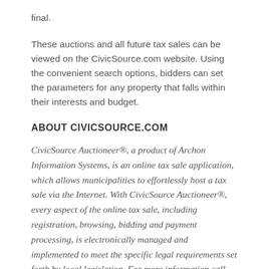final.
These auctions and all future tax sales can be viewed on the CivicSource.com website. Using the convenient search options, bidders can set the parameters for any property that falls within their interests and budget.
ABOUT CIVICSOURCE.COM
CivicSource Auctioneer®, a product of Archon Information Systems, is an online tax sale application, which allows municipalities to effortlessly host a tax sale via the Internet. With CivicSource Auctioneer®, every aspect of the online tax sale, including registration, browsing, bidding and payment processing, is electronically managed and implemented to meet the specific legal requirements set forth by local legislation. For more information call (888) 387-8033 or visit